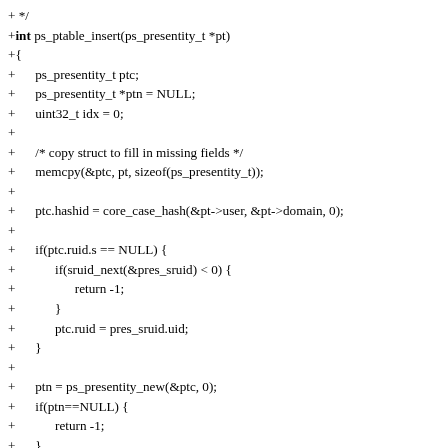+ */
+int ps_ptable_insert(ps_presentity_t *pt)
+{
+      ps_presentity_t ptc;
+      ps_presentity_t *ptn = NULL;
+      uint32_t idx = 0;
+
+      /* copy struct to fill in missing fields */
+      memcpy(&ptc, pt, sizeof(ps_presentity_t));
+
+      ptc.hashid = core_case_hash(&pt->user, &pt->domain, 0);
+
+      if(ptc.ruid.s == NULL) {
+            if(sruid_next(&pres_sruid) < 0) {
+                  return -1;
+            }
+            ptc.ruid = pres_sruid.uid;
+      }
+
+      ptn = ps_presentity_new(&ptc, 0);
+      if(ptn==NULL) {
+            return -1;
+      }
+
+      idx = core_hash_idx(ptn->hashid, ps_ptable->ssize);